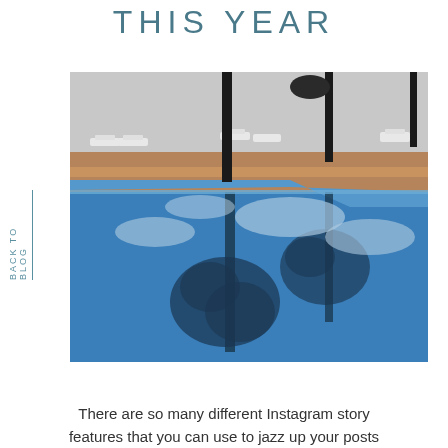THIS YEAR
[Figure (photo): Outdoor swimming pool with blue water reflecting palm trees and clouds, with white lounge chairs visible in the background on a patio area]
There are so many different Instagram story features that you can use to jazz up your posts